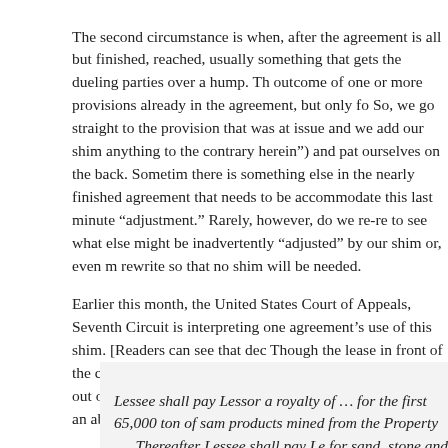The second circumstance is when, after the agreement is all but finished, reached, usually something that gets the dueling parties over a hump. The outcome of one or more provisions already in the agreement, but only for. So, we go straight to the provision that was at issue and we add our shim anything to the contrary herein”) and pat ourselves on the back. Sometimes there is something else in the nearly finished agreement that needs to be accommodate this last minute “adjustment.” Rarely, however, do we re-re to see what else might be inadvertently “adjusted” by our shim or, even more rewrite so that no shim will be needed.
Earlier this month, the United States Court of Appeals, Seventh Circuit is interpreting one agreement’s use of this shim. [Readers can see that dec Though the lease in front of the court dealt with mining rights and the bo stands a little out of the mainstream of leasing law, the court’s analysis m an abbreviated version of the disputed lease provision:
Lessee shall pay Lessor a royalty of … for the first 65,000 ton of sand products mined from the Property …. Thereafter Lessee shall pay Le for sand, stone and rock products mined from the Property (all such hereinafter referred to as “Production Royalties”) for the sand, stone mined from the Property weekly (measured from the Effective Date). anything to the contrary contained herein, Lessee shall pay to Lessee